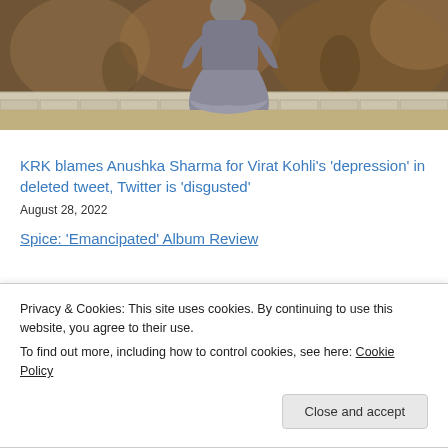[Figure (photo): Person in grey outfit standing in front of a brick wall with decorative mural/painting in background, viewed from behind/side]
KRK blames Anushka Sharma for Virat Kohli's 'depression' in deleted tweet, Twitter is 'disgusted'
August 28, 2022
Spice: 'Emancipated' Album Review
Privacy & Cookies: This site uses cookies. By continuing to use this website, you agree to their use.
To find out more, including how to control cookies, see here: Cookie Policy
Close and accept
August 26, 2022